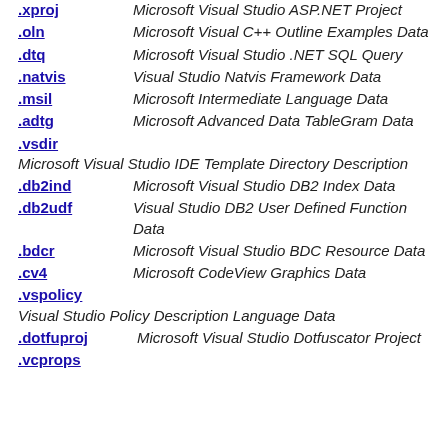.xproj  Microsoft Visual Studio ASP.NET Project
.oln  Microsoft Visual C++ Outline Examples Data
.dtq  Microsoft Visual Studio .NET SQL Query
.natvis  Visual Studio Natvis Framework Data
.msil  Microsoft Intermediate Language Data
.adtg  Microsoft Advanced Data TableGram Data
.vsdir  Microsoft Visual Studio IDE Template Directory Description
.db2ind  Microsoft Visual Studio DB2 Index Data
.db2udf  Visual Studio DB2 User Defined Function Data
.bdcr  Microsoft Visual Studio BDC Resource Data
.cv4  Microsoft CodeView Graphics Data
.vspolicy  Visual Studio Policy Description Language Data
.dotfuproj  Microsoft Visual Studio Dotfuscator Project
.vcprops  Microsoft Visual Studio 2005 Property Sheet Data